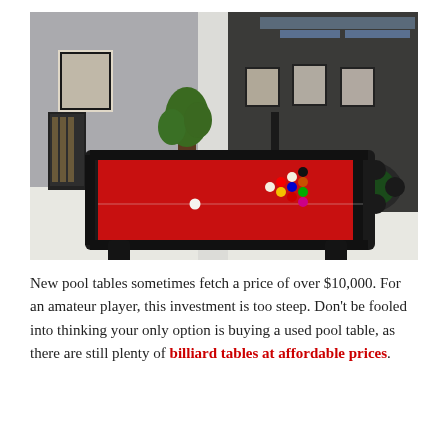[Figure (photo): Interior photo of a billiard/game room featuring a large pool table with a red felt surface and black wooden frame in the foreground, billiard balls racked on the table, a cue stick holder on the left, a tall round bar table with bar stools in the center background, a round poker/card table with black chairs on the right, framed black-and-white artwork on the walls, large windows with city view, and a glossy white floor.]
New pool tables sometimes fetch a price of over $10,000. For an amateur player, this investment is too steep. Don't be fooled into thinking your only option is buying a used pool table, as there are still plenty of billiard tables at affordable prices.